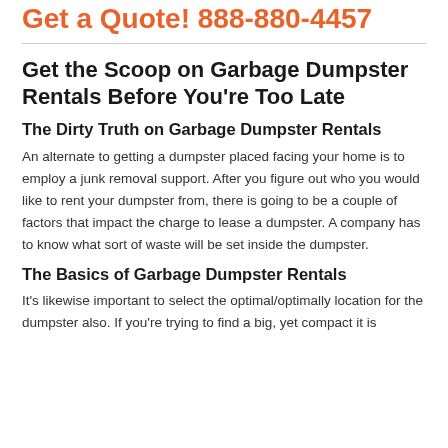Get a Quote! 888-880-4457
Get the Scoop on Garbage Dumpster Rentals Before You're Too Late
The Dirty Truth on Garbage Dumpster Rentals
An alternate to getting a dumpster placed facing your home is to employ a junk removal support. After you figure out who you would like to rent your dumpster from, there is going to be a couple of factors that impact the charge to lease a dumpster. A company has to know what sort of waste will be set inside the dumpster.
The Basics of Garbage Dumpster Rentals
It's likewise important to select the optimal/optimally location for the dumpster also. If you're trying to find a big, yet compact it is really important to use a rental dumpster service.